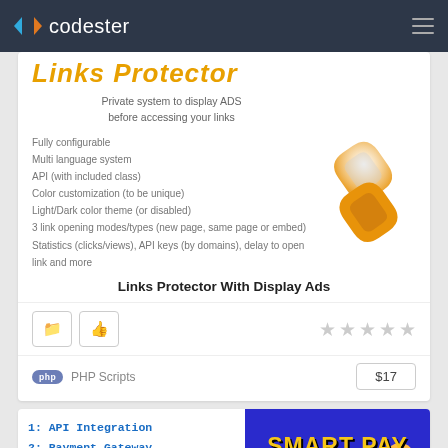codester
Links Protector
Private system to display ADS before accessing your links
Fully configurable
Multi language system
API (with included class)
Color customization (to be unique)
Light/Dark color theme (or disabled)
3 link opening modes/types (new page, same page or embed)
Statistics (clicks/views), API keys (by domains), delay to open link and more
Links Protector With Display Ads
PHP Scripts  $17
1: API Integration
2: Payment Gateway
3: Store Front